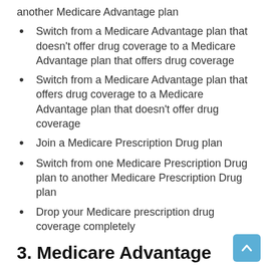another Medicare Advantage plan
Switch from a Medicare Advantage plan that doesn't offer drug coverage to a Medicare Advantage plan that offers drug coverage
Switch from a Medicare Advantage plan that offers drug coverage to a Medicare Advantage plan that doesn't offer drug coverage
Join a Medicare Prescription Drug plan
Switch from one Medicare Prescription Drug plan to another Medicare Prescription Drug plan
Drop your Medicare prescription drug coverage completely
3. Medicare Advantage